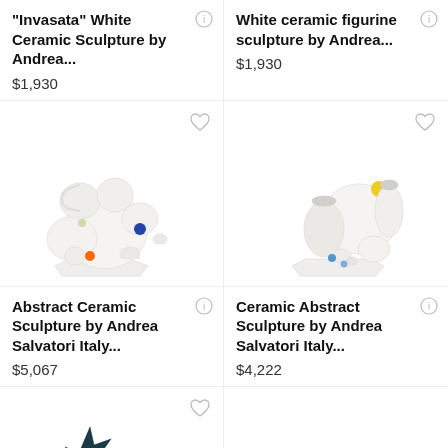"Invasata" White Ceramic Sculpture by Andrea...
$1,930
White ceramic figurine sculpture by Andrea...
$1,930
[Figure (photo): White ceramic abstract sculpture composed of multiple vessel shapes on a hexagonal base, with small colorful spheres (blue, orange, green)]
[Figure (photo): White ceramic abstract sculpture of stacked vessels on hexagonal base, with small blue spheres and a yellow sphere on top]
Abstract Ceramic Sculpture by Andrea Salvatori Italy...
$5,067
Ceramic Abstract Sculpture by Andrea Salvatori Italy...
$4,222
[Figure (photo): Dark teal/black spiky star-shaped ceramic sculpture, partially visible at bottom]